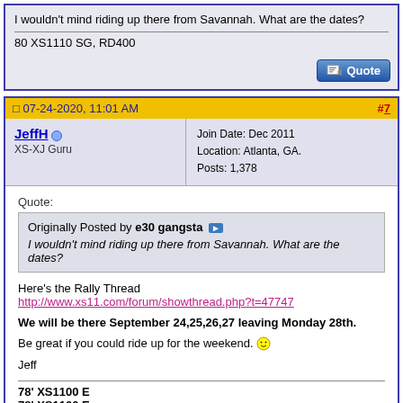I wouldn't mind riding up there from Savannah. What are the dates?
80 XS1110 SG, RD400
07-24-2020, 11:01 AM  #7
JeffH
XS-XJ Guru
Join Date: Dec 2011
Location: Atlanta, GA.
Posts: 1,378
Quote:
Originally Posted by e30 gangsta
I wouldn't mind riding up there from Savannah. What are the dates?
Here's the Rally Thread
http://www.xs11.com/forum/showthread.php?t=47747
We will be there September 24,25,26,27 leaving Monday 28th.
Be great if you could ride up for the weekend. :)
Jeff
78' XS1100 E
78' XS1100 E
78' XS1100 E